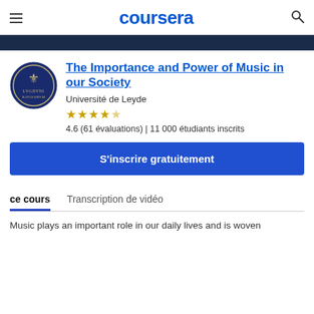coursera
[Figure (screenshot): Dark navy banner strip across top of page]
[Figure (logo): Leiden University circular seal/crest logo in blue and white]
The Importance and Power of Music in our Society
Université de Leyde
★★★★☆ 4.6 (61 évaluations) | 11 000 étudiants inscrits
S'inscrire gratuitement
ce cours    Transcription de vidéo
Music plays an important role in our daily lives and is woven